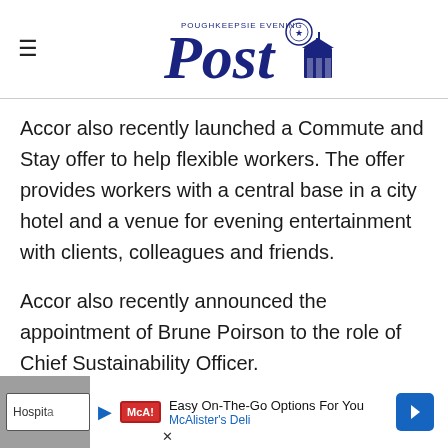Poughkeepsie Evening Post
Accor also recently launched a Commute and Stay offer to help flexible workers. The offer provides workers with a central base in a city hotel and a venue for evening entertainment with clients, colleagues and friends.
Accor also recently announced the appointment of Brune Poirson to the role of Chief Sustainability Officer.
[Figure (other): Advertisement banner for McAlister's Deli: Easy On-The-Go Options For You]